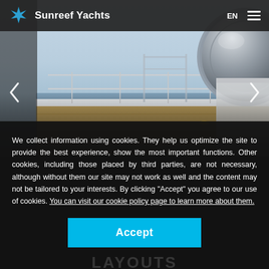Sunreef Yachts  EN
[Figure (photo): Hero image of a yacht deck with ocean horizon in background, partial round porthole on the right side, navigation railing in the middle, calm sea and overcast sky. Left and right navigation arrows overlay the image.]
We collect information using cookies. They help us optimize the site to provide the best experience, show the most important functions. Other cookies, including those placed by third parties, are not necessary, although without them our site may not work as well and the content may not be tailored to your interests. By clicking "Accept" you agree to our use of cookies. You can visit our cookie policy page to learn more about them.
Accept